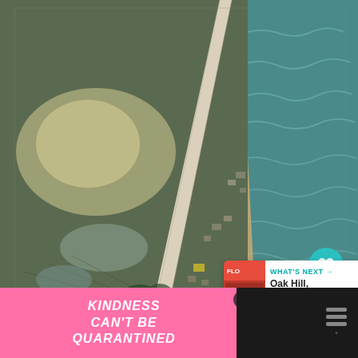[Figure (photo): Aerial black-and-white photograph of a Florida coastline showing a straight road running parallel to a sandy beach with ocean waves on the right and marshland/fields on the left. Small buildings and structures visible along the road.]
58
WHAT'S NEXT → Oak Hill, Florida: Day...
KINDNESS CAN'T BE QUARANTINED